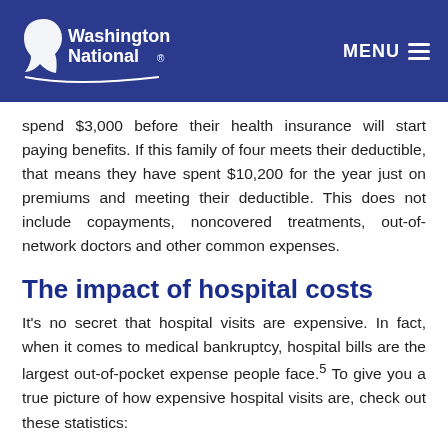Washington National — MENU
spend $3,000 before their health insurance will start paying benefits. If this family of four meets their deductible, that means they have spent $10,200 for the year just on premiums and meeting their deductible. This does not include copayments, noncovered treatments, out-of-network doctors and other common expenses.
The impact of hospital costs
It's no secret that hospital visits are expensive. In fact, when it comes to medical bankruptcy, hospital bills are the largest out-of-pocket expense people face.5 To give you a true picture of how expensive hospital visits are, check out these statistics:
Common ER procedures can cost as much as $17,797.6